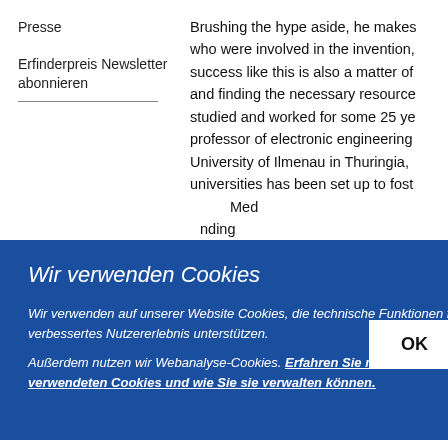Presse
Erfinderpreis Newsletter abonnieren
Brushing the hype aside, he makes who were involved in the invention, success like this is also a matter of and finding the necessary resource studied and worked for some 25 ye professor of electronic engineering University of Ilmenau in Thuringia, universities has been set up to fost Med nding ot the and emen ment dy wh emsel
[Figure (other): Cookie consent overlay dialog with blue background, title 'Wir verwenden Cookies', body text in italic white, an OK button, and a bold underlined link 'Erfahren Sie mehr über die von uns verwendeten Cookies und wie Sie sie verwalten können.']